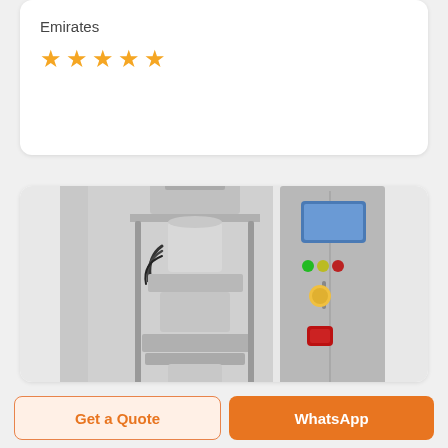Emirates
[Figure (other): Five orange star rating icons]
[Figure (photo): Industrial packaging machine - stainless steel vertical form fill seal (VFFS) machine with control panel on the right side featuring a touchscreen display, indicator lights, and control buttons]
Get a Quote
WhatsApp